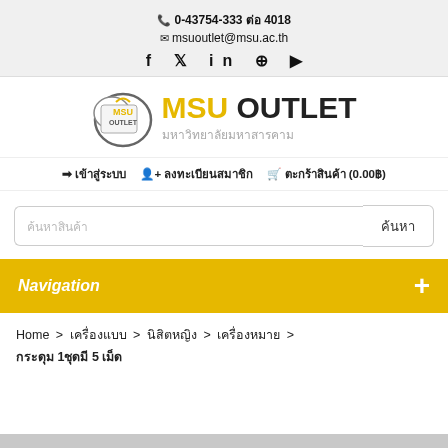📞 0-43754-333 ต่อ 4018
✉ msuoutlet@msu.ac.th
f 🐦 in 𝕚 yt
[Figure (logo): MSU OUTLET logo with circular badge and text: MSU OUTLET มหาวิทยาลัยมหาสารคาม]
➡ เข้าสู่ระบบ   👤+ ลงทะเบียนสมาชิก   🛒 ตะกร้าสินค้า (0.00฿)
ค้นหาสินค้า [ค้นหา]
Navigation +
Home > เครื่องแบบ > นิสิตหญิง > เครื่องหมาย > กระดุม 1ชุดมี 5 เม็ด